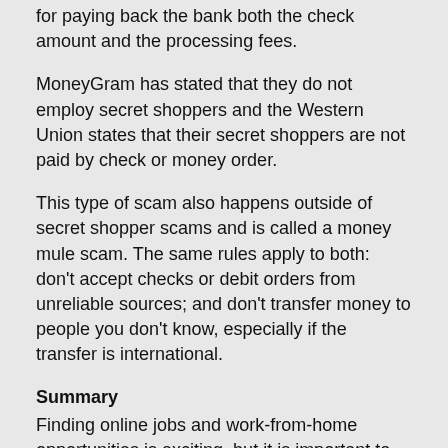for paying back the bank both the check amount and the processing fees.
MoneyGram has stated that they do not employ secret shoppers and the Western Union states that their secret shoppers are not paid by check or money order.
This type of scam also happens outside of secret shopper scams and is called a money mule scam. The same rules apply to both: don't accept checks or debit orders from unreliable sources; and don't transfer money to people you don't know, especially if the transfer is international.
Summary
Finding online jobs and work-from-home opportunities is exciting, but it is important to protect yourself from scams and fraudsters. Remember to cross-check the company offering the job with a list of legitimate opportunities. Don't pay unnecessary fees. Be very cautious of jobs that require you to do money transfers. Report all suspicious activity and keep abreast with the antifraud news.